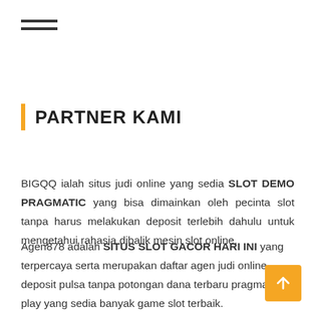[Figure (other): Hamburger menu icon with three horizontal lines]
PARTNER KAMI
BIGQQ ialah situs judi online yang sedia SLOT DEMO PRAGMATIC yang bisa dimainkan oleh pecinta slot tanpa harus melakukan deposit terlebih dahulu untuk mengetahui rahasia dibalik mesin slot online.
Agen878 adalah SITUS SLOT GACOR HARI INI yang terpercaya serta merupakan daftar agen judi online deposit pulsa tanpa potongan dana terbaru pragmatic play yang sedia banyak game slot terbaik.
[Figure (illustration): Yellow scroll-to-top button with upward arrow icon]